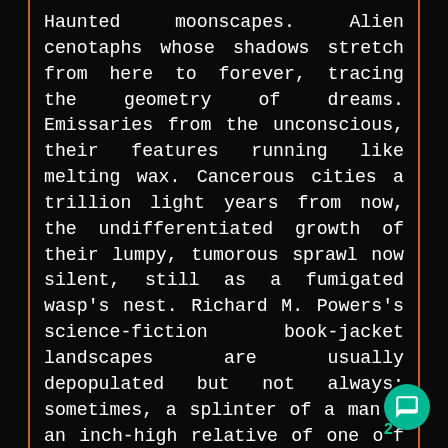Haunted moonscapes. Alien cenotaphs whose shadows stretch from here to forever, tracing the geometry of dreams. Emissaries from the unconscious, their features running like melting wax. Cancerous cities a trillion light years from now, the undifferentiated growth of their lumpy, tumorous sprawl now silent, still as a fumigated wasp's nest. Richard M. Powers's science-fiction book-jacket landscapes are usually depopulated but not always: sometimes, a splinter of a man — an inch-high relative of one of Giacometti's stick figures — stands